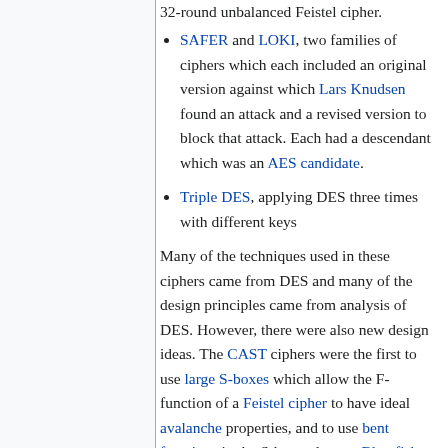SAFER and LOKI, two families of ciphers which each included an original version against which Lars Knudsen found an attack and a revised version to block that attack. Each had a descendant which was an AES candidate.
Triple DES, applying DES three times with different keys
Many of the techniques used in these ciphers came from DES and many of the design principles came from analysis of DES. However, there were also new design ideas. The CAST ciphers were the first to use large S-boxes which allow the F-function of a Feistel cipher to have ideal avalanche properties, and to use bent functions in the S-box columns. Blowfish introduced key-dependent S-